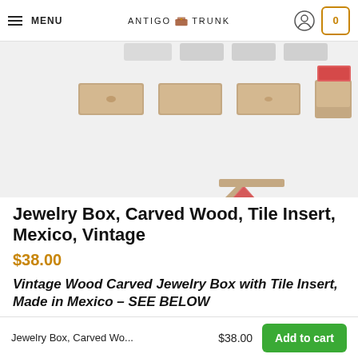MENU | ANTIGO TRUNK | Account | Cart 0
[Figure (photo): Multiple views of a carved wood jewelry box with red velvet interior shown open and closed, including a triangular piece, on a light gray background.]
Jewelry Box, Carved Wood, Tile Insert, Mexico, Vintage
$38.00
Vintage Wood Carved Jewelry Box with Tile Insert, Made in Mexico – SEE BELOW
Jewelry Box, Carved Wo... $38.00 Add to cart